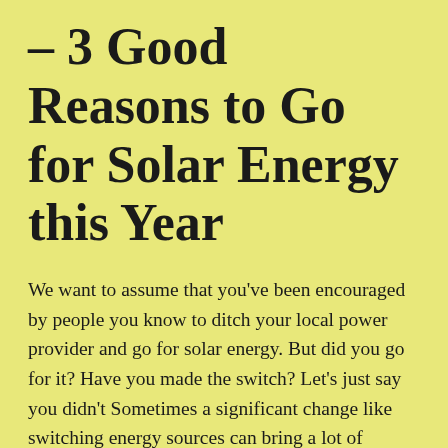– 3 Good Reasons to Go for Solar Energy this Year
We want to assume that you've been encouraged by people you know to ditch your local power provider and go for solar energy. But did you go for it? Have you made the switch? Let's just say you didn't Sometimes a significant change like switching energy sources can bring a lot of scepticism along with it. You haven't tried solar before, so why switch now, right? We've been there. When we decided to switch to MV solar Newcastle, it changed our lives for the better. We want you to experience it, too. That's why we're going to show you three good reasons why you should switch to clean and green solar energy: